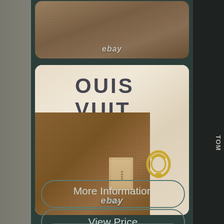[Figure (screenshot): eBay product listing screenshot showing a Louis Vuitton item. Top card shows brown canvas texture with 'ebay' watermark. Middle card shows close-up of brown LV canvas with leather tab, gold clasp hardware, and cream dustbag with 'LOUIS VUIT' text visible, with 'ebay' watermark. Two buttons at bottom: 'More Information / ebay' and 'View Price'.]